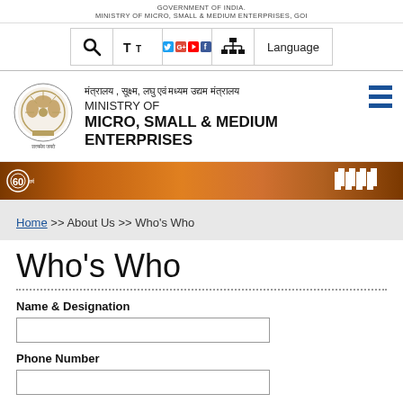GOVERNMENT OF INDIA
MINISTRY OF MICRO, SMALL & MEDIUM ENTERPRISES, GOI
[Figure (screenshot): Navigation bar with search, text size, social media icons (Twitter, Google+, YouTube, Facebook), network icon, and Language option]
[Figure (logo): Government of India emblem (Ashoka Pillar) with Satyamev Jayte text and ministry branding: Hindi text, MINISTRY OF MICRO, SMALL & MEDIUM ENTERPRISES, with hamburger menu icon]
[Figure (photo): Orange/brown decorative banner with MSME 60 years logo on left and MSME text logo on right, with background image of people]
Home >> About Us >> Who's Who
Who's Who
Name & Designation
Phone Number